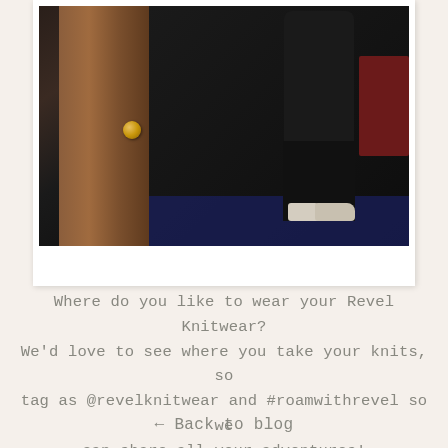[Figure (photo): A polaroid-style photo of a person taking a mirror selfie in what appears to be a hotel room. The person is dressed all in black with white sneakers. A wooden door with a brass doorknob is visible on the left side of the mirror. The floor has a dark patterned carpet. A bed with dark red bedding is partially visible in the background.]
Where do you like to wear your Revel Knitwear? We'd love to see where you take your knits, so tag as @revelknitwear and #roamwithrevel so we can share all your adventures!
← Back to blog